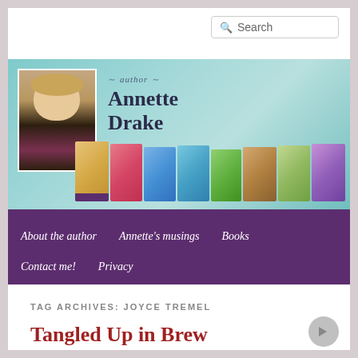[Figure (screenshot): Search bar with magnifying glass icon and 'Search' placeholder text]
[Figure (illustration): Author website banner with photo of Annette Drake (blonde woman with purple scarf), cursive 'author Annette Drake' text, and row of book covers on teal/mint background]
About the author   Annette's musings   Books   Contact me!   Privacy
TAG ARCHIVES: JOYCE TREMEL
Tangled Up in Brew